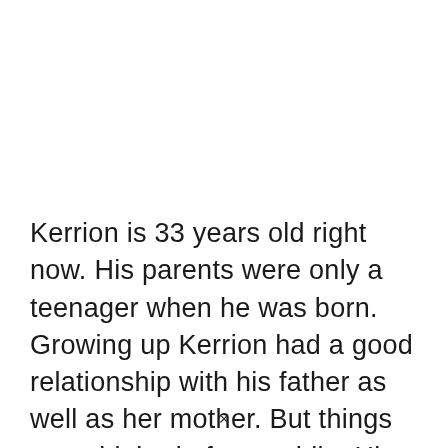Kerrion is 33 years old right now. His parents were only a teenager when he was born. Growing up Kerrion had a good relationship with his father as well as her mother. But things got a bit bad after a while. His parents got divorced and the family fell apart. The
×